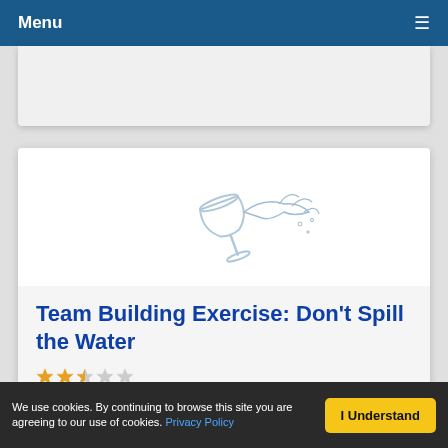Menu
[Figure (photo): A wine glass tipping over, spilling water in an artistic splash on a white background]
Team Building Exercise: Don't Spill the Water
★★☆☆☆ (2.5 star rating)
We use cookies. By continuing to browse this site you are agreeing to our use of cookies. Privacy Policy
I Understand